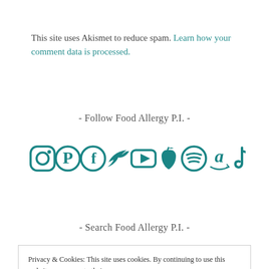This site uses Akismet to reduce spam. Learn how your comment data is processed.
- Follow Food Allergy P.I. -
[Figure (illustration): Row of social media icons in teal: Instagram, Pinterest, Facebook, Twitter, YouTube, Apple, Spotify, Amazon, TikTok]
- Search Food Allergy P.I. -
Privacy & Cookies: This site uses cookies. By continuing to use this website, you agree to their use. To find out more, including how to control cookies, see here: Cookie Policy   Close and accept